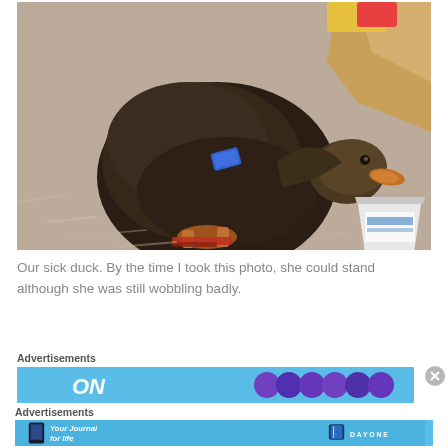[Figure (photo): A sick duck standing on wood shavings/bedding near a wooden structure and a small paper cup. The duck has dark brown/black plumage with a blue tag on its wing and appears to be a mallard hen.]
Our sick duck. By the time I took this photo, she could stand although she was still wobbling badly.
Advertisements
[Figure (other): Partial advertisement banner with light blue background showing 'ON' text and colorful circular elements]
Advertisements
[Figure (other): Advertisement banner for Day One app - 'Your Journal for life' with light blue background, phone mockup image, and Day One logo]